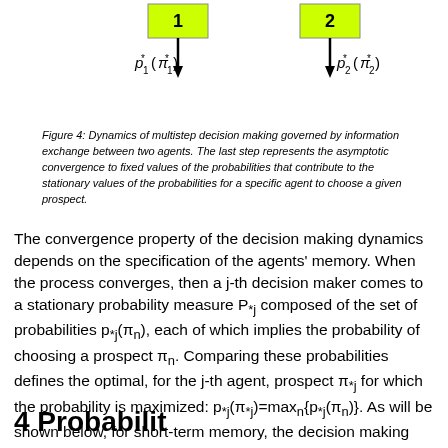[Figure (flowchart): Two numbered boxes (1 and 2) with yellow fill, each with a downward arrow below them. Below box 1 is p*_1(π*_1) and below box 2 is p*_2(π*_2). Represents multistep decision making dynamics between two agents.]
Figure 4: Dynamics of multistep decision making governed by information exchange between two agents. The last step represents the asymptotic convergence to fixed values of the probabilities that contribute to the stationary values of the probabilities for a specific agent to choose a given prospect.
The convergence property of the decision making dynamics depends on the specification of the agents' memory. When the process converges, then a j-th decision maker comes to a stationary probability measure P*j composed of the set of probabilities p*j(πn), each of which implies the probability of choosing a prospect πn. Comparing these probabilities defines the optimal, for the j-th agent, prospect π*j for which the probability is maximized: p*j(π*j)=maxn{p*j(πn)}. As will be shown below, for short-term memory, the decision making process may become not convergent.
4 Probabilit...